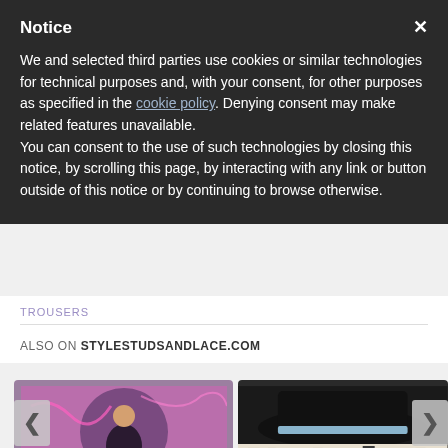Notice
We and selected third parties use cookies or similar technologies for technical purposes and, with your consent, for other purposes as specified in the cookie policy. Denying consent may make related features unavailable.
You can consent to the use of such technologies by closing this notice, by scrolling this page, by interacting with any link or button outside of this notice or by continuing to browse otherwise.
TROUSERS
ALSO ON STYLESTUDSANDLACE.COM
[Figure (photo): Circular cropped photo of a person in front of a colorful graffiti wall, with overlay text 'rs ago • 4 comments']
[Figure (photo): Photo of a black wide-brim hat with geometric patterned fabric underneath, with overlay text '5 years ago • 1 comment']